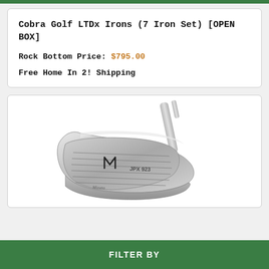Cobra Golf LTDx Irons (7 Iron Set) [OPEN BOX]
Rock Bottom Price: $795.00
Free Home In 2! Shipping
[Figure (photo): Silver Mizuno golf iron club head, shiny metallic finish, Mizuno logo visible on the face, JPX branding on the club head, viewed from a slight angle showing the sole and face]
FILTER BY